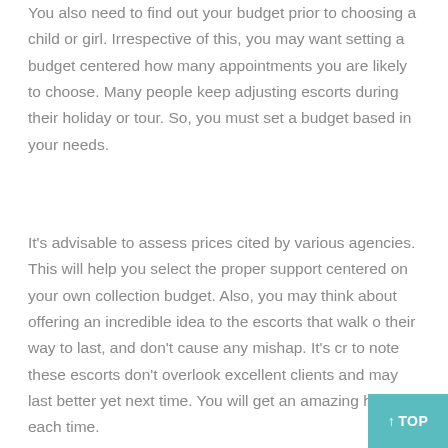You also need to find out your budget prior to choosing a child or girl. Irrespective of this, you may want setting a budget centered how many appointments you are likely to choose. Many people keep adjusting escorts during their holiday or tour. So, you must set a budget based in your needs.
It's advisable to assess prices cited by various agencies. This will help you select the proper support centered on your own collection budget. Also, you may think about offering an incredible idea to the escorts that walk o their way to last, and don't cause any mishap. It's cr to note these escorts don't overlook excellent clients and may last better yet next time. You will get an amazing handle each time.